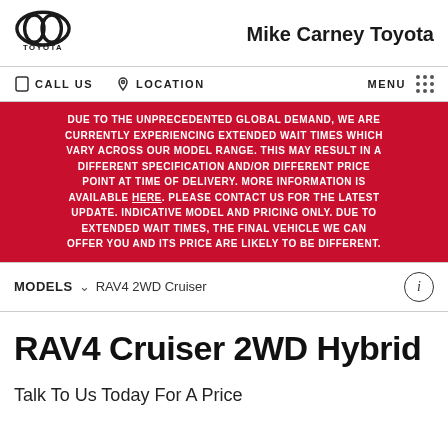Mike Carney Toyota
CALL US   LOCATION   MENU
DUE TO THE UNPRECEDENTED GLOBAL DEMAND, WE ARE CURRENTLY EXPERIENCING EXTENDED WAIT TIMES WHICH VARY ACROSS OUR MODEL RANGE. THIS MAY RESULT IN A DIFFERENT SPECIFICATION AND/OR DIFFERENT PRICE POINT AT TIME OF DELIVERY. MORE INFORMATION IS AVAILABLE HERE. PLEASE CONTACT US FOR THE LATEST UPDATE. INDICATIVE MODEL AND PRICING ONLY. DUE TO EXTENDED WAIT TIMES, THE FINAL VEHICLE WE CAN OFFER YOU AND ITS PRICE ARE LIKELY TO BE DIFFERENT.
MODELS   RAV4 2WD Cruiser
RAV4 Cruiser 2WD Hybrid
Talk To Us Today For A Price